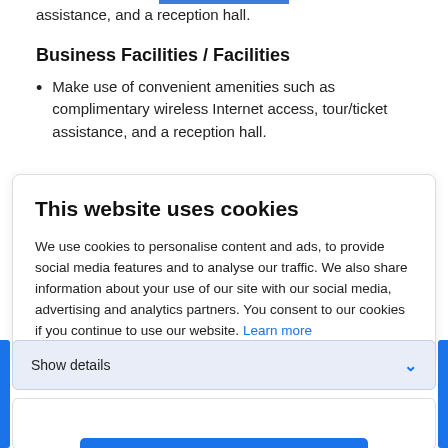assistance, and a reception hall.
Business Facilities / Facilities
Make use of convenient amenities such as complimentary wireless Internet access, tour/ticket assistance, and a reception hall.
This website uses cookies
We use cookies to personalise content and ads, to provide social media features and to analyse our traffic. We also share information about your use of our site with our social media, advertising and analytics partners. You consent to our cookies if you continue to use our website. Learn more
Show details